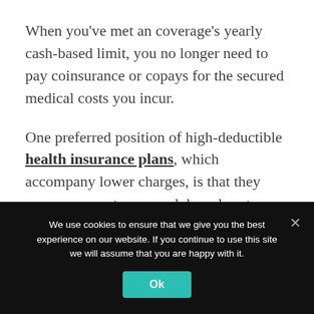When you've met an coverage's yearly cash-based limit, you no longer need to pay coinsurance or copays for the secured medical costs you incur.
One preferred position of high-deductible health insurance plans, which accompany lower charges, is that they empower you to pay cash based costs through a health investment account (HSA). Commitments to an HSA are tax-exempt as are withdrawals, insofar as
We use cookies to ensure that we give you the best experience on our website. If you continue to use this site we will assume that you are happy with it.